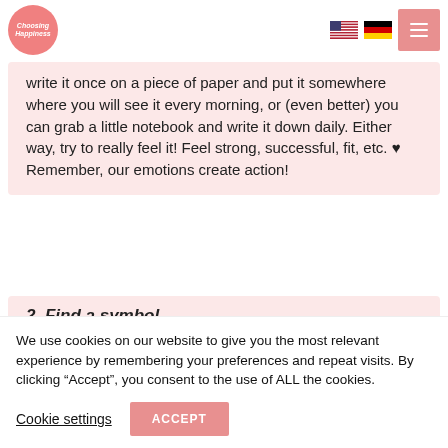Choosing Happiness
write it once on a piece of paper and put it somewhere where you will see it every morning, or (even better) you can grab a little notebook and write it down daily. Either way, try to really feel it! Feel strong, successful, fit, etc. ♥ Remember, our emotions create action!
2. Find a symbol
We use cookies on our website to give you the most relevant experience by remembering your preferences and repeat visits. By clicking “Accept”, you consent to the use of ALL the cookies.